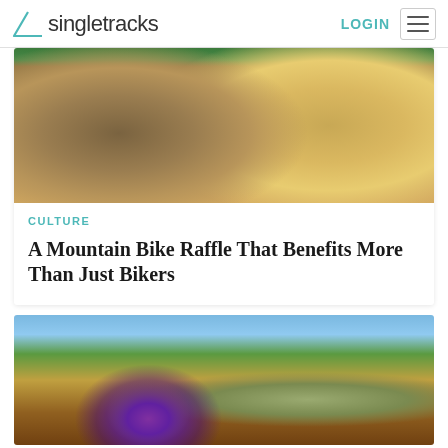Singletracks — LOGIN
[Figure (photo): Two hands holding clumps of different types of dirt/soil — one darker and more granular on the left, one lighter and more sandy on the right — against a green outdoor background]
CULTURE
A Mountain Bike Raffle That Benefits More Than Just Bikers
[Figure (photo): A mountain biker in a yellow and purple Chamois Butt'r jersey riding hard across a dry, open field with pine trees in the background and a blue sky with clouds]